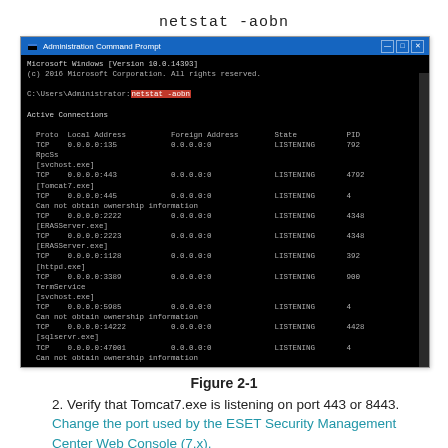netstat -aobn
[Figure (screenshot): Windows Administration Command Prompt showing output of 'netstat -aobn' command. Lists active TCP connections including ports 135, 443, 445, 2222, 2223, 1128, 3389, 5985, 14222, 47001 with state LISTENING and associated PIDs and process names such as RpcSs, svchost.exe, Tomcat7.exe, ERASServer.exe, httpd.exe, TermService, sqlservr.exe.]
Figure 2-1
2. Verify that Tomcat7.exe is listening on port 443 or 8443. Change the port used by the ESET Security Management Center Web Console (7.x).